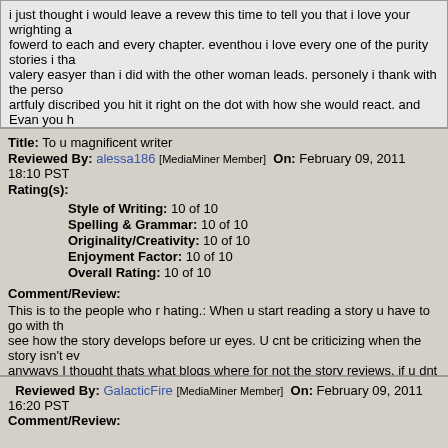i just thought i would leave a revew this time to tell you that i love your wrighting and look fowerd to each and every chapter. eventhou i love every one of the purity stories i tha valery easyer than i did with the other woman leads. personely i thank with the perso artfuly discribed you hit it right on the dot with how she would react. and Evan you h in fangirl love with him. this is just my 2cents but every word of it is true. please kee and dont let anyone get you down remember haters will hate. i have read alot and i g wrighting is better than alot of the published authers i see. ~kim
Title: To u magnificent writer
Reviewed By: alessa186 [MediaMiner Member] On: February 09, 2011 18:10 PST
Rating(s):
Style of Writing: 10 of 10
Spelling & Grammar: 10 of 10
Originality/Creativity: 10 of 10
Enjoyment Factor: 10 of 10
Overall Rating: 10 of 10
Comment/Review:
This is to the people who r hating.: When u start reading a story u have to go with the see how the story develops before ur eyes. U cnt be criticizing when the story isn't e anyways I thought thats what bloqs where for not the story reviews. if u dnt like som dont be hating, its wrong and depressing :/ . TO u writer: I personally love ur stories. many reasons. One of the more prominent being that ur stories are a sequence in whi ignore and don't do. but u have developed them into a series and each one a new the congrat. u on that. If it were books I confess i'd buy them in a yip. so chin up. and go
Reviewed By: GalacticFire [MediaMiner Member] On: February 09, 2011 16:20 PST
Comment/Review: